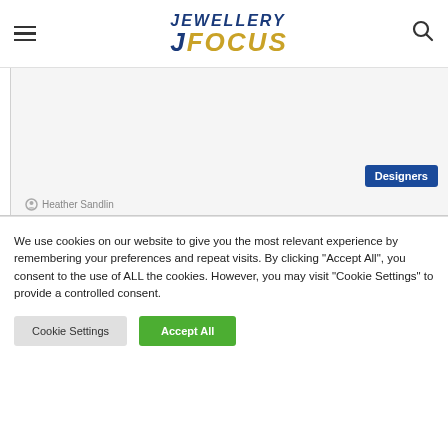JEWELLERY FOCUS
[Figure (screenshot): Jewellery article image placeholder with Designers tag and author Heather Sandlin]
We use cookies on our website to give you the most relevant experience by remembering your preferences and repeat visits. By clicking "Accept All", you consent to the use of ALL the cookies. However, you may visit "Cookie Settings" to provide a controlled consent.
Cookie Settings | Accept All